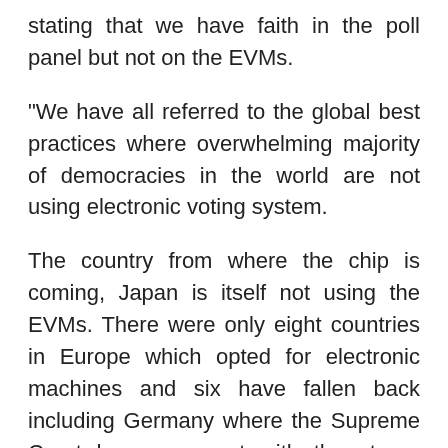stating that we have faith in the poll panel but not on the EVMs.
"We have all referred to the global best practices where overwhelming majority of democracies in the world are not using electronic voting system.
The country from where the chip is coming, Japan is itself not using the EVMs. There were only eight countries in Europe which opted for electronic machines and six have fallen back including Germany where the Supreme Court has come out with the strong indictment," Congress leader Anand Sharma said.